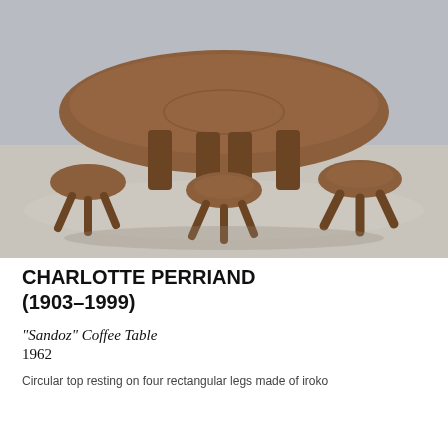[Figure (photo): Photograph of a Charlotte Perriand 'Sandoz' Coffee Table from 1962. A large circular wooden table with four rectangular legs made of iroko, surrounded by several small three-legged wooden stools, all in warm brown wood tones, displayed in a gallery setting with grey floor and wall.]
CHARLOTTE PERRIAND (1903–1999)
"Sandoz" Coffee Table
1962
Circular top resting on four rectangular legs made of iroko